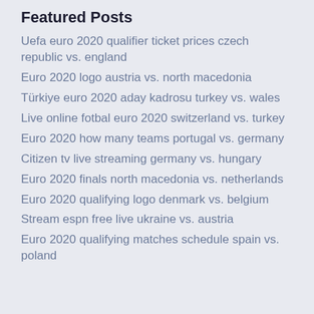Featured Posts
Uefa euro 2020 qualifier ticket prices czech republic vs. england
Euro 2020 logo austria vs. north macedonia
Türkiye euro 2020 aday kadrosu turkey vs. wales
Live online fotbal euro 2020 switzerland vs. turkey
Euro 2020 how many teams portugal vs. germany
Citizen tv live streaming germany vs. hungary
Euro 2020 finals north macedonia vs. netherlands
Euro 2020 qualifying logo denmark vs. belgium
Stream espn free live ukraine vs. austria
Euro 2020 qualifying matches schedule spain vs. poland